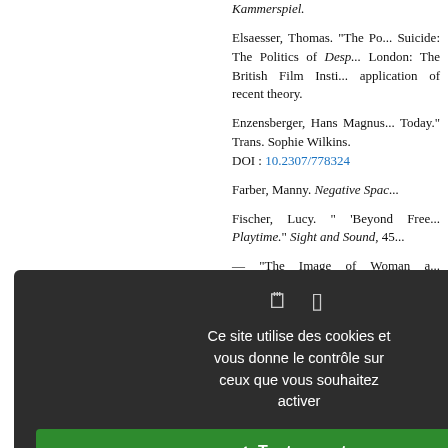Kammerspiel.
Elsaesser, Thomas. "The Po... Suicide: The Politics of Desp... London: The British Film Insti... application of recent theory.
Enzensberger, Hans Magnus... Today." Trans. Sophie Wilkins. DOI : 10.2307/778324
Farber, Manny. Negative Spac...
Fischer, Lucy. " 'Beyond Free... Playtime." Sight and Sound, 45...
— "The Image of Woman a... Quarterly, 30 (Fall, 1976). With... of the way women are "seen" i...
Franklin, J. C. "The Films of F... of Film Studies, 5 (Spring, 198... DOI : 10.1080/10509208009836
Frye, Northrop. Anatomy o f... 1957.
[Figure (screenshot): Cookie consent dialog overlay in French on a dark background. Contains icons, text 'Ce site utilise des cookies et vous donne le contrôle sur ceux que vous souhaitez activer', buttons: '✓ Tout accepter' (green), '✗ Tout refuser' (red), 'Personnaliser' (white), and 'Politique de confidentialité' link.]